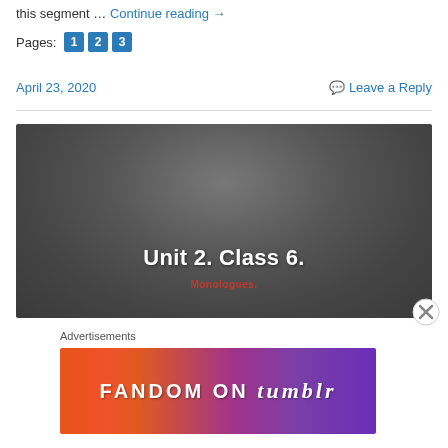this segment … Continue reading →
Pages: 1 2 3
April 23, 2020
💬 Leave a Reply
[Figure (screenshot): Dark grey slide presentation with title 'Unit 2. Class 6.' and subtitle 'Monologues.' in red text on a dark grey gradient background]
Advertisements
[Figure (other): FANDOM ON tumblr advertisement banner with orange-to-purple gradient background and white text]